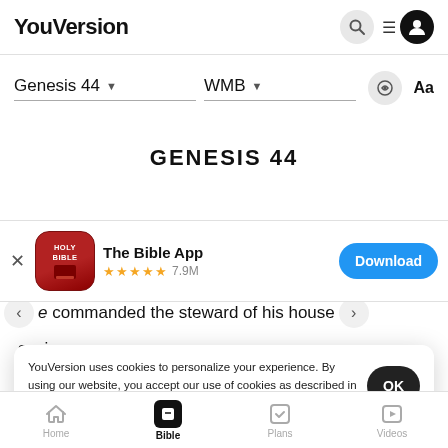YouVersion
Genesis 44   WMB
[Figure (screenshot): YouVersion Bible website showing Genesis 44 in WMB translation with app download banner for The Bible App (4.9 stars, 7.9M ratings) and cookie consent popup. Bottom navigation showing Home, Bible, Plans, Videos tabs.]
The Bible App
★★★★★ 7.9M
he commanded the steward of his house
saying,
they can carry, and put each man's money in his
YouVersion uses cookies to personalize your experience. By using our website, you accept our use of cookies as described in our Privacy Policy.